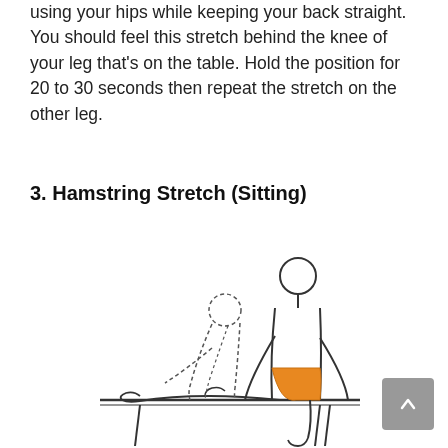using your hips while keeping your back straight. You should feel this stretch behind the knee of your leg that's on the table. Hold the position for 20 to 30 seconds then repeat the stretch on the other leg.
3. Hamstring Stretch (Sitting)
[Figure (illustration): Illustration of a person sitting on a table performing a hamstring stretch. The person sits upright with one leg extended straight on the table and one leg hanging off the side. The hip/shorts area is highlighted in orange. A secondary outline shows the person leaning forward.]